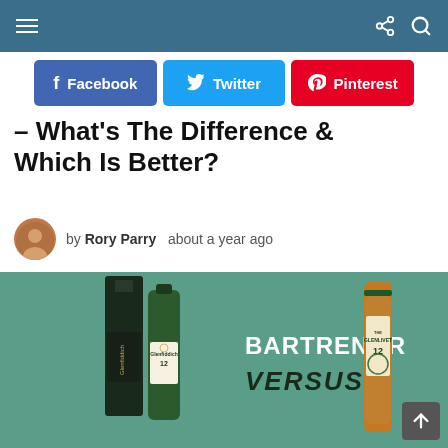Navigation bar with hamburger menu, share, and search icons
[Figure (infographic): Social sharing buttons row: Facebook (blue), Twitter (cyan), Pinterest (red)]
– What's The Difference & Which Is Better?
by Rory Parry   about a year ago
[Figure (photo): Bartrendr Versus promotional image showing two Glenfiddich 12 whisky bottles on the left and a Glenlivet 12 bottle on the right, against a teal/green background. Text reads BARTRENDR VERSUS.]